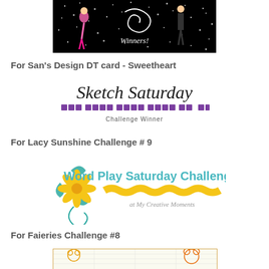[Figure (illustration): Banner with sparkly black background showing fashion figures and decorative swirls, appears to say 'Winners']
For San's Design DT card - Sweetheart
[Figure (logo): Sketch Saturday Challenge Winner logo with cursive text and purple dot pattern]
For Lacy Sunshine Challenge # 9
[Figure (logo): Word Play Saturday Challenge at My Creative Moments logo with yellow flower and teal accent]
For Faieries Challenge #8
[Figure (illustration): Partial view of a challenge badge with orange/yellow illustrated characters on grid background]